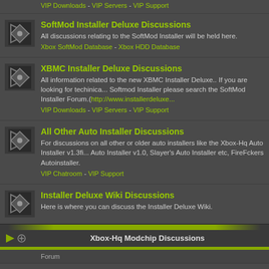VIP Downloads - VIP Servers - VIP Support
SoftMod Installer Deluxe Discussions
All discussions relating to the SoftMod Installer will be held here.
Xbox SoftMod Database - Xbox HDD Database
XBMC Installer Deluxe Discussions
All information related to the new XBMC Installer Deluxe.. If you are looking for techinica... Softmod Installer please search the SoftMod Installer Forum.(http://www.installerdeluxe...)
VIP Downloads - VIP Servers - VIP Support
All Other Auto Installer Discussions
For discussions on all other or older auto installers like the Xbox-Hq Auto Installer v1.3fi... Auto Installer v1.0, Slayer's Auto Installer etc, FireFckers Autoinstaller.
VIP Chatroom - VIP Support
Installer Deluxe Wiki Discussions
Here is where you can discuss the Installer Deluxe Wiki.
Xbox-Hq Modchip Discussions
Forum
All Other Modchip Discussions
All information and discussions for 49LF020 cheapmods and all other modchips not liste...